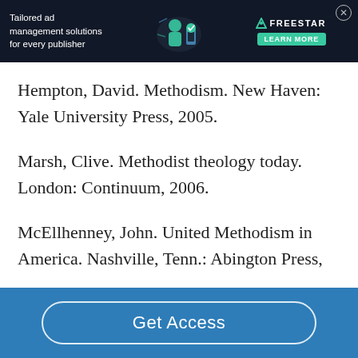[Figure (other): Advertisement banner for Freestar ad management solutions. Dark background with text 'Tailored ad management solutions for every publisher', decorative graphic, Freestar logo with triangle icon, and green 'LEARN MORE' button. Close button (X) in top-right corner.]
Hempton, David. Methodism. New Haven: Yale University Press, 2005.
Marsh, Clive. Methodist theology today. London: Continuum, 2006.
McEllhenney, John. United Methodism in America. Nashville, Tenn.: Abington Press,
Get Access